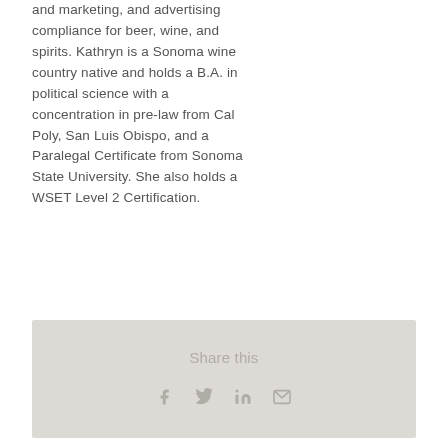and marketing, and advertising compliance for beer, wine, and spirits. Kathryn is a Sonoma wine country native and holds a B.A. in political science with a concentration in pre-law from Cal Poly, San Luis Obispo, and a Paralegal Certificate from Sonoma State University. She also holds a WSET Level 2 Certification.
Share this